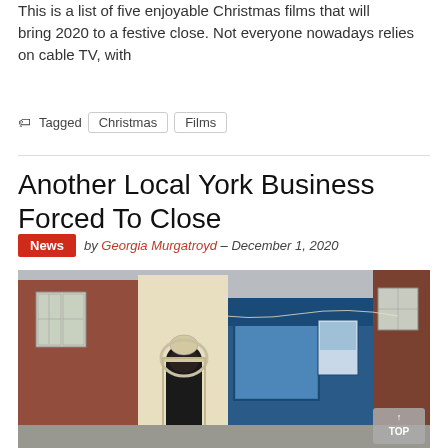This is a list of five enjoyable Christmas films that will bring 2020 to a festive close. Not everyone nowadays relies on cable TV, with
Tagged  Christmas  Films
Another Local York Business Forced To Close
News  by Georgia Murgatroyd – December 1, 2020
[Figure (photo): Street-level photo of a row of brick buildings in York, including a shop with a blue painted frontage and arched doorway, taken in daylight.]